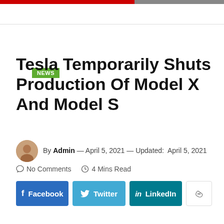NEWS
Tesla Temporarily Shuts Production Of Model X And Model S
By Admin — April 5, 2021 — Updated: April 5, 2021
No Comments  4 Mins Read
[Figure (other): Social share buttons: Facebook, Twitter, LinkedIn, and a share icon button]